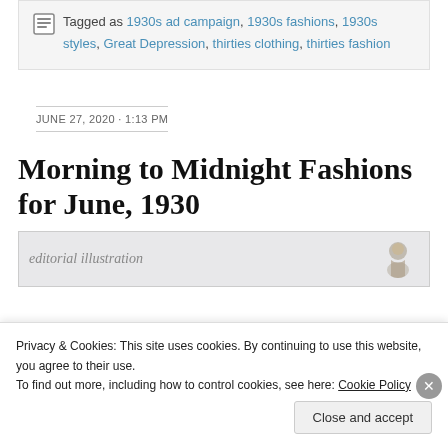Tagged as 1930s ad campaign, 1930s fashions, 1930s styles, Great Depression, thirties clothing, thirties fashion
JUNE 27, 2020 · 1:13 PM
Morning to Midnight Fashions for June, 1930
[Figure (illustration): Partial view of an editorial illustration showing a figure sketch]
Privacy & Cookies: This site uses cookies. By continuing to use this website, you agree to their use.
To find out more, including how to control cookies, see here: Cookie Policy
Close and accept